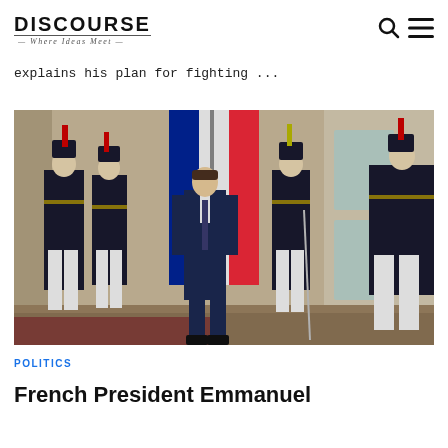DISCOURSE — Where Ideas Meet
explains his plan for fighting ...
[Figure (photo): French President Emmanuel Macron standing in front of the Élysée Palace with Republican Guards in ceremonial uniform]
POLITICS
French President Emmanuel